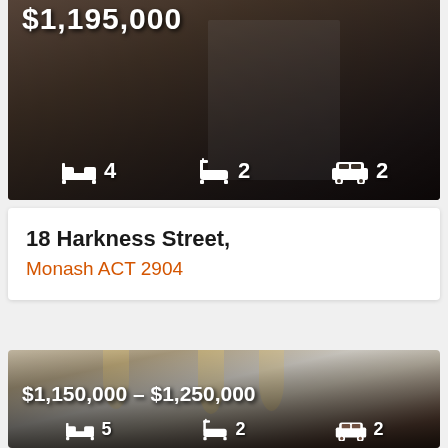[Figure (photo): Property listing photo (top, partial) showing brick exterior with staircase. Price $1,195,000 visible at top. Features: 4 bedrooms, 2 bathrooms, 2 car spaces.]
$1,195,000
4 bedrooms, 2 bathrooms, 2 car spaces
18 Harkness Street,
Monash ACT 2904
[Figure (photo): Property listing photo showing modern kitchen interior with pendant lights, stainless steel fridge, island bench and bar stools. Price range $1,150,000 – $1,250,000. Features: 5 bedrooms, 2 bathrooms, 2 car spaces.]
$1,150,000 – $1,250,000
5 bedrooms, 2 bathrooms, 2 car spaces